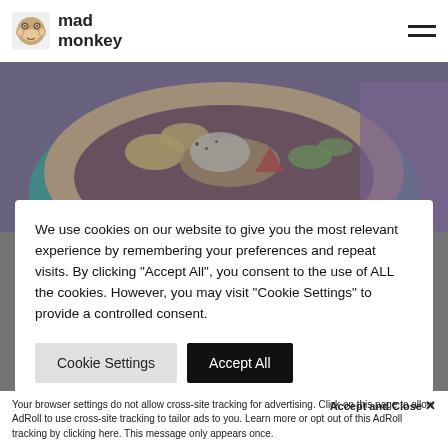mad monkey
[Figure (photo): Overhead photo of a food bowl with seeds, nuts, strawberry, coconut flakes, and greens on a blue background]
We use cookies on our website to give you the most relevant experience by remembering your preferences and repeat visits. By clicking "Accept All", you consent to the use of ALL the cookies. However, you may visit "Cookie Settings" to provide a controlled consent.
Cookie Settings  Accept All
Location: Si Phum, Mueang Chiang Mai District, Chiang Mai 50200, Thailand — VIEW MAP
Contact:
Accept and Close ✕
Your browser settings do not allow cross-site tracking for advertising. Click on this page to allow AdRoll to use cross-site tracking to tailor ads to you. Learn more or opt out of this AdRoll tracking by clicking here. This message only appears once.